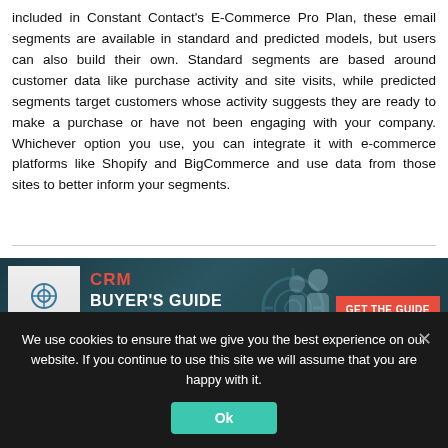included in Constant Contact's E-Commerce Pro Plan, these email segments are available in standard and predicted models, but users can also build their own. Standard segments are based around customer data like purchase activity and site visits, while predicted segments target customers whose activity suggests they are ready to make a purchase or have not been engaging with your company. Whichever option you use, you can integrate it with e-commerce platforms like Shopify and BigCommerce and use data from those sites to better inform your segments.
[Figure (other): CRM Buyer's Guide advertisement banner with dark teal background, showing a book graphic on the left, 'CRM' in red and 'BUYER'S GUIDE' in white text, subtitle lines about top solutions providers and top 10 questions, and a red 'GET THE GUIDE' button on the right.]
We use cookies to ensure that we give you the best experience on our website. If you continue to use this site we will assume that you are happy with it.
Ok